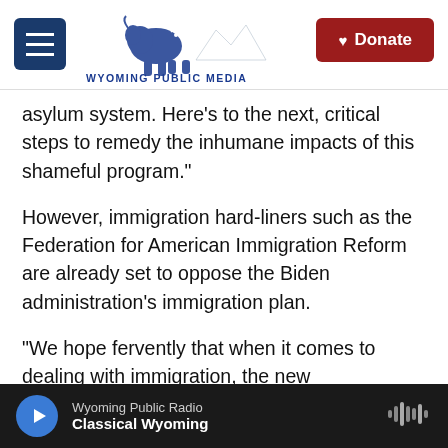Wyoming Public Media — Donate
asylum system. Here's to the next, critical steps to remedy the inhumane impacts of this shameful program."
However, immigration hard-liners such as the Federation for American Immigration Reform are already set to oppose the Biden administration's immigration plan.
"We hope fervently that when it comes to dealing with immigration, the new administration will seek to find common sense policies that not only serve to enhance the economic recovery from COVID, but
Wyoming Public Radio — Classical Wyoming